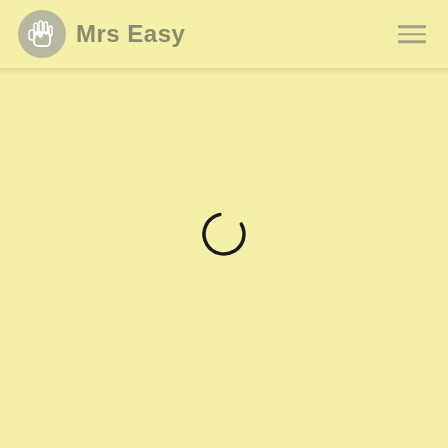Mrs Easy
[Figure (illustration): A loading spinner arc (partial circle, open at bottom-right) centered on the yellow page body, indicating a loading state.]